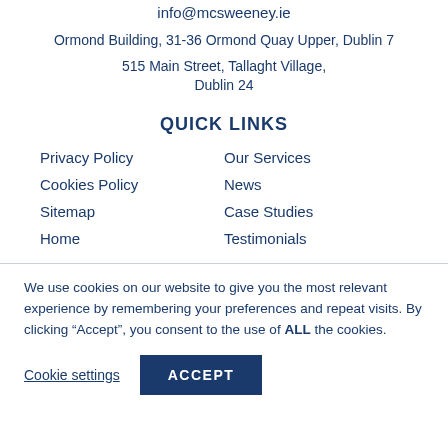info@mcsweeney.ie
Ormond Building, 31-36 Ormond Quay Upper, Dublin 7
515 Main Street, Tallaght Village, Dublin 24
QUICK LINKS
Privacy Policy
Our Services
Cookies Policy
News
Sitemap
Case Studies
Home
Testimonials
We use cookies on our website to give you the most relevant experience by remembering your preferences and repeat visits. By clicking “Accept”, you consent to the use of ALL the cookies.
Cookie settings
ACCEPT